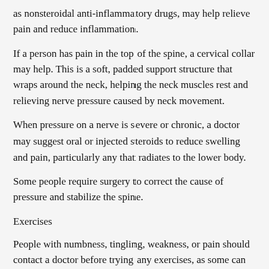as nonsteroidal anti-inflammatory drugs, may help relieve pain and reduce inflammation.
If a person has pain in the top of the spine, a cervical collar may help. This is a soft, padded support structure that wraps around the neck, helping the neck muscles rest and relieving nerve pressure caused by neck movement.
When pressure on a nerve is severe or chronic, a doctor may suggest oral or injected steroids to reduce swelling and pain, particularly any that radiates to the lower body.
Some people require surgery to correct the cause of pressure and stabilize the spine.
Exercises
People with numbness, tingling, weakness, or pain should contact a doctor before trying any exercises, as some can make pinched nerve symptoms worse.